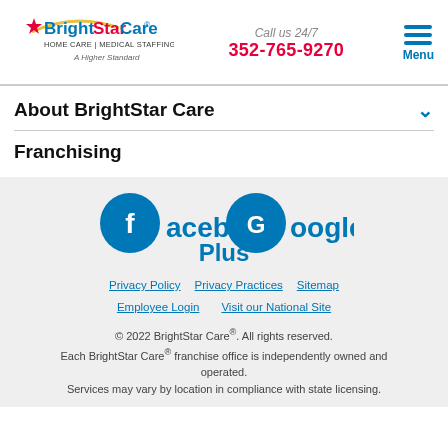[Figure (logo): BrightStar Care logo with star icon, 'HOME CARE | MEDICAL STAFFING' and 'A Higher Standard' tagline]
Call us 24/7
352-765-9270
[Figure (illustration): Hamburger menu icon with 'Menu' label]
About BrightStar Care
Franchising
[Figure (logo): Facebook and Google Plus social media icons with text]
Privacy Policy   Privacy Practices   Sitemap
Employee Login   Visit our National Site
© 2022 BrightStar Care®. All rights reserved.
Each BrightStar Care® franchise office is independently owned and operated.
Services may vary by location in compliance with state licensing.